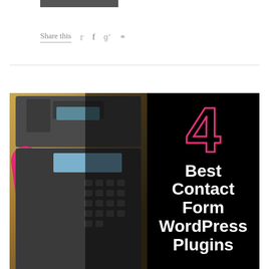[Figure (other): Dark gray/black rectangular button or label at top of page]
Share this
[Figure (illustration): Social media share icons: Twitter bird, Facebook f, Google+ g+, Pinterest p]
[Figure (photo): Split image: left half shows a vintage payphone with pink/magenta handset on golden background; right half is dark with large outlined pink number 4 and white bold text reading: Best Contact Form WordPress Plugins]